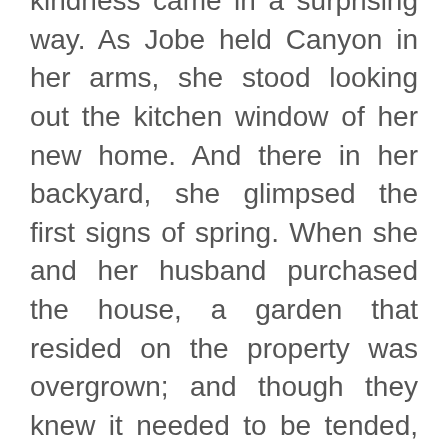kindness came in a surprising way. As Jobe held Canyon in her arms, she stood looking out the kitchen window of her new home. And there in her backyard, she glimpsed the first signs of spring. When she and her husband purchased the house, a garden that resided on the property was overgrown; and though they knew it needed to be tended, they were advised to wait and see what it produced. The result was a breathtaking bounty of harvest. That day, Jobe made her way through the garden—a stark reminder of God's